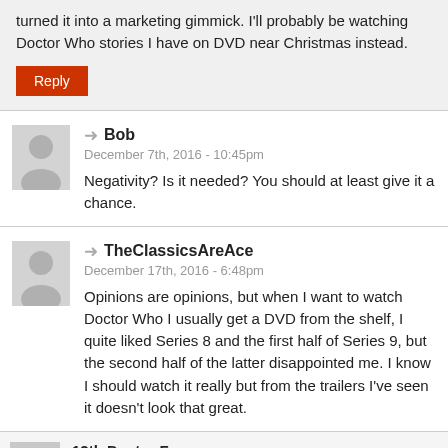turned it into a marketing gimmick. I'll probably be watching Doctor Who stories I have on DVD near Christmas instead.
Reply
Bob
December 7th, 2016 - 10:45pm
Negativity? Is it needed? You should at least give it a chance.
TheClassicsAreAce
December 17th, 2016 - 6:48pm
Opinions are opinions, but when I want to watch Doctor Who I usually get a DVD from the shelf, I quite liked Series 8 and the first half of Series 9, but the second half of the latter disappointed me. I know I should watch it really but from the trailers I've seen it doesn't look that great.
12th Doctor Fan
December 2nd, 2016 - 2:40pm